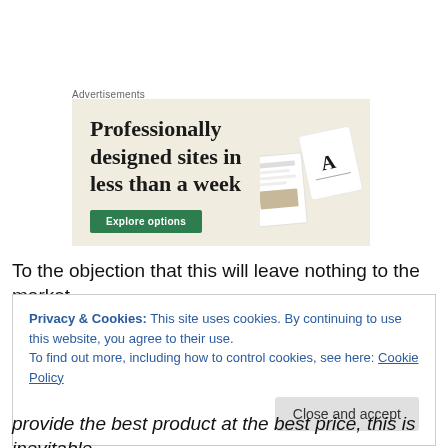Advertisements
[Figure (screenshot): Advertisement banner with beige background showing text 'Professionally designed sites in less than a week' with a green 'Explore options' button and mockup images of website designs on the right side.]
To the objection that this will leave nothing to the market,
Privacy & Cookies: This site uses cookies. By continuing to use this website, you agree to their use.
To find out more, including how to control cookies, see here: Cookie Policy
provide the best product at the best price, this is inevitable